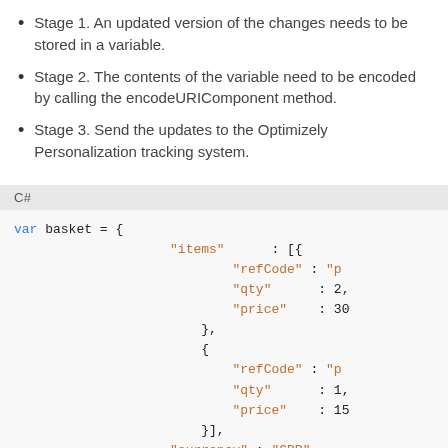Stage 1. An updated version of the changes needs to be stored in a variable.
Stage 2. The contents of the variable need to be encoded by calling the encodeURIComponent method.
Stage 3. Send the updates to the Optimizely Personalization tracking system.
C#
var basket = {
                    "items"      : [{
                            "refCode" : "p
                            "qty"     : 2,
                            "price"   : 30
                        },
                        {
                            "refCode" : "p
                            "qty"     : 1,
                            "price"   : 15
                        }],
                    "currency" : "GBP"